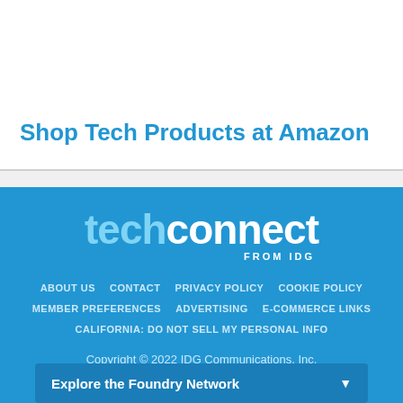Shop Tech Products at Amazon
[Figure (logo): techconnect FROM IDG logo — 'tech' in light blue, 'connect' in white, 'FROM IDG' in white small caps below]
ABOUT US  CONTACT  PRIVACY POLICY  COOKIE POLICY  MEMBER PREFERENCES  ADVERTISING  E-COMMERCE LINKS  CALIFORNIA: DO NOT SELL MY PERSONAL INFO
Copyright © 2022 IDG Communications, Inc.
Explore the Foundry Network ▼